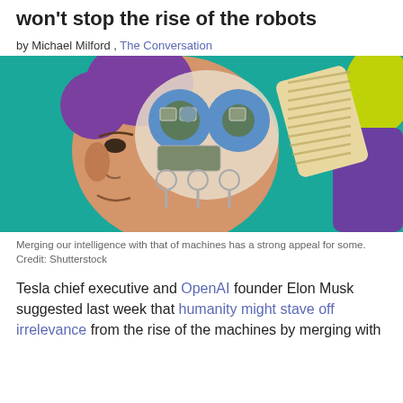won't stop the rise of the robots
by Michael Milford , The Conversation
[Figure (illustration): Colorful illustration of a human head in profile with mechanical/robotic components visible inside the brain area, teal background with purple and green accent shapes. A robotic arm or device is inserted into the head. Credit: Shutterstock.]
Merging our intelligence with that of machines has a strong appeal for some. Credit: Shutterstock
Tesla chief executive and OpenAI founder Elon Musk suggested last week that humanity might stave off irrelevance from the rise of the machines by merging with